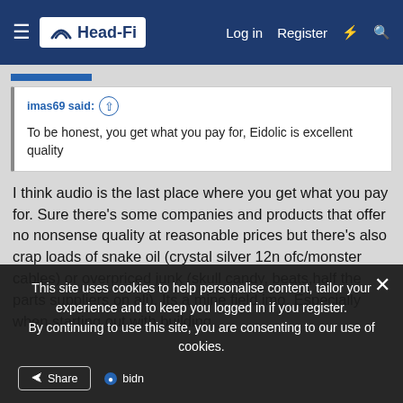Head-Fi | Log in | Register
imas69 said: ↑ To be honest, you get what you pay for, Eidolic is excellent quality
I think audio is the last place where you get what you pay for. Sure there's some companies and products that offer no nonsense quality at reasonable prices but there's also crap loads of snake oil (crystal silver 12n ofc/monster cables) or overpriced junk (skull candy, beats,half the parts suppliers on ali). Its a mine field imo. Especially when starting out with building.
This site uses cookies to help personalise content, tailor your experience and to keep you logged in if you register. By continuing to use this site, you are consenting to our use of cookies.